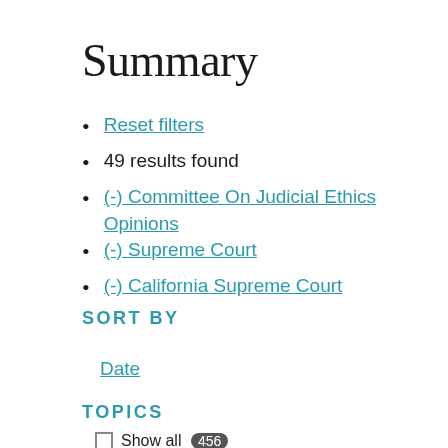Summary
Reset filters
49 results found
(-) Committee On Judicial Ethics Opinions
(-) Supreme Court
(-) California Supreme Court
SORT BY
Date
TOPICS
Show all 456